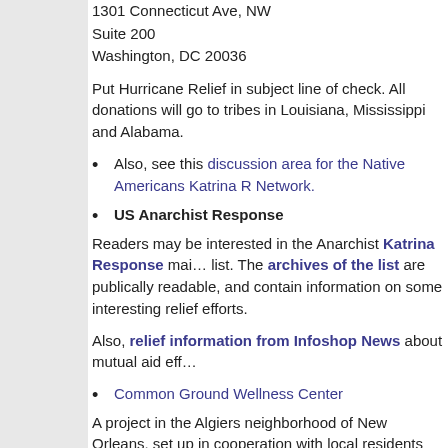1301 Connecticut Ave, NW
Suite 200
Washington, DC 20036
Put Hurricane Relief in subject line of check. All donations will go to tribes in Louisiana, Mississippi and Alabama.
Also, see this discussion area for the Native Americans Katrina Relief Network.
US Anarchist Response
Readers may be interested in the Anarchist Katrina Response mailing list. The archives of the list are publically readable, and contain information on some interesting relief efforts.
Also, relief information from Infoshop News about mutual aid efforts
Common Ground Wellness Center
A project in the Algiers neighborhood of New Orleans, set up in cooperation with local residents and supported by Infoshop News, Mayday DC, and members of Asheville APOC, "organized on a cooperative, non-hierarchical basis, which stresses the importance of solidarity instead of charity." For more information see also this article at Infoshop News.
Neighborhood Story Project
The Neighborhood Story Project "will spend the next 4 months work